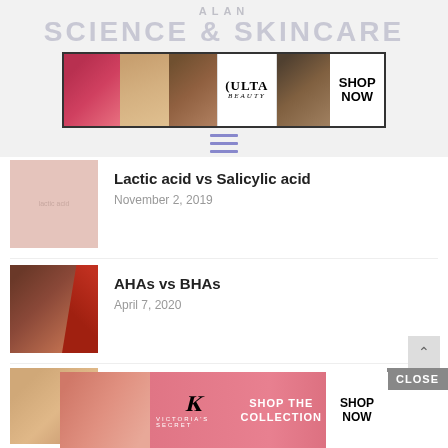ALAN
SCIENCE & SKINCARE
[Figure (advertisement): Ulta Beauty advertisement banner with cosmetic images (lips, brush, eyes, Ulta logo, model eyes) and SHOP NOW button]
[Figure (infographic): Hamburger menu icon with three horizontal blue lines]
[Figure (photo): Pink/blush placeholder thumbnail for Lactic acid vs Salicylic acid post]
Lactic acid vs Salicylic acid
November 2, 2019
[Figure (photo): Close-up photo of a red makeup brush on skin-toned background for AHAs vs BHAs post]
AHAs vs BHAs
April 7, 2020
[Figure (photo): Close-up photo of woman's skin for Glycolic acid vs Salicylic acid post]
Glycolic acid vs Salicylic acid
[Figure (advertisement): Victoria's Secret advertisement banner with model photo, VS logo, SHOP THE COLLECTION text, and SHOP NOW button]
CLOSE